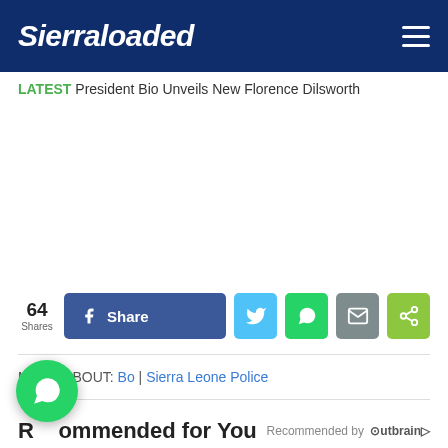Sierraloaded
LATEST President Bio Unveils New Florence Dilsworth
[Figure (other): Advertisement area (blank white space)]
64 Shares — Share (Facebook), Twitter, WhatsApp, Email, Share buttons
MORE ABOUT: Bo | Sierra Leone Police
Recommended for You
Recommended by Outbrain
[Figure (other): WhatsApp floating chat button]